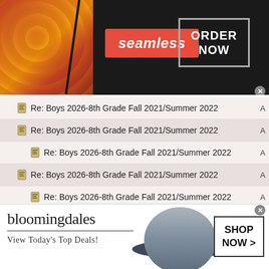[Figure (infographic): Seamless food delivery advertisement banner with pizza image on left, seamless logo in red, and ORDER NOW button on right]
Re: Boys 2026-8th Grade Fall 2021/Summer 2022
Re: Boys 2026-8th Grade Fall 2021/Summer 2022
Re: Boys 2026-8th Grade Fall 2021/Summer 2022
Re: Boys 2026-8th Grade Fall 2021/Summer 2022
Re: Boys 2026-8th Grade Fall 2021/Summer 2022
Re: Boys 2026-8th Grade Fall 2021/Summer 2022
Re: Boys 2026-8th Grade Fall 2021/Summer 2022
Re: Boys 2026-8th Grade Fall 2021/Summer 2022
Re: Boys 2026-8th Grade Fall 2021/Summer 2022
Re: Boys 2026-8th Grade Fall 2021/Summer 2022
[Figure (infographic): Bloomingdale's advertisement banner with hat image, View Today's Top Deals tagline, and SHOP NOW button]